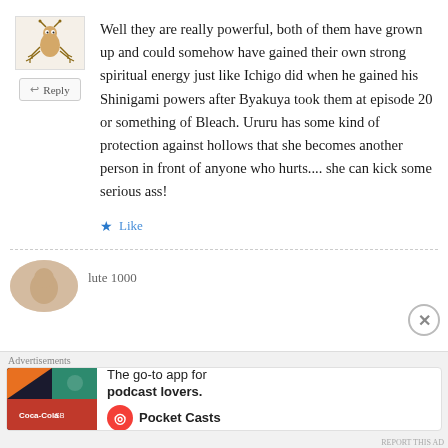[Figure (illustration): Small cartoon avatar illustration of a character with mosquito/insect features]
↩ Reply
Well they are really powerful, both of them have grown up and could somehow have gained their own strong spiritual energy just like Ichigo did when he gained his Shinigami powers after Byakuya took them at episode 20 or something of Bleach. Ururu has some kind of protection against hollows that she becomes another person in front of anyone who hurts.... she can kick some serious ass!
★ Like
Advertisements
The go-to app for podcast lovers.
[Figure (logo): Pocket Casts app logo with podcast advertisement]